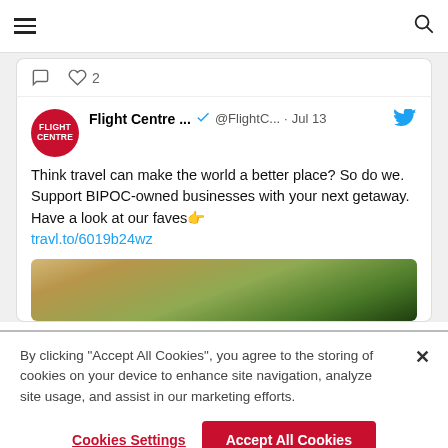Navigation bar with hamburger menu and search icon
[Figure (screenshot): Partial tweet showing reaction buttons: comment icon and heart icon with count '2']
[Figure (screenshot): Tweet from Flight Centre (@FlightC...) dated Jul 13 reading: 'Think travel can make the world a better place? So do we. Support BIPOC-owned businesses with your next getaway. Have a look at our faves 👉 travl.to/6019b24wz' with a partial image of a building and trees]
By clicking "Accept All Cookies", you agree to the storing of cookies on your device to enhance site navigation, analyze site usage, and assist in our marketing efforts.
Cookies Settings
Accept All Cookies